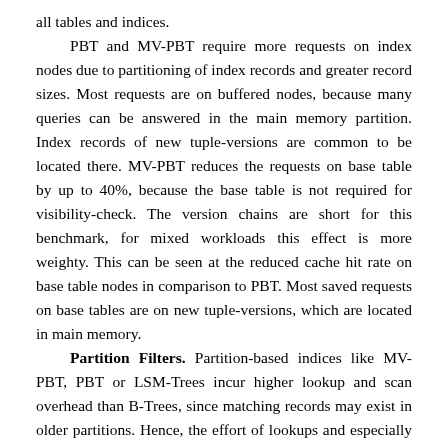all tables and indices.
PBT and MV-PBT require more requests on index nodes due to partitioning of index records and greater record sizes. Most requests are on buffered nodes, because many queries can be answered in the main memory partition. Index records of new tuple-versions are common to be located there. MV-PBT reduces the requests on base table by up to 40%, because the base table is not required for visibility-check. The version chains are short for this benchmark, for mixed workloads this effect is more weighty. This can be seen at the reduced cache hit rate on base table nodes in comparison to PBT. Most saved requests on base tables are on new tuple-versions, which are located in main memory.
Partition Filters. Partition-based indices like MV-PBT, PBT or LSM-Trees incur higher lookup and scan overhead than B-Trees, since matching records may exist in older partitions. Hence, the effort of lookups and especially of scans increases with number of index-partitions, since